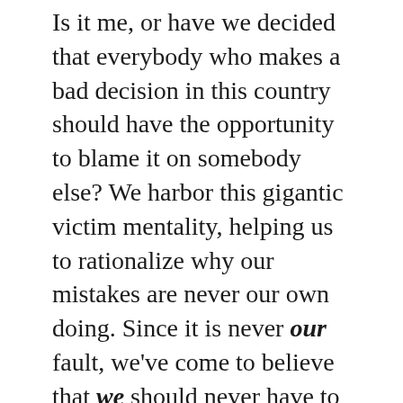Is it me, or have we decided that everybody who makes a bad decision in this country should have the opportunity to blame it on somebody else? We harbor this gigantic victim mentality, helping us to rationalize why our mistakes are never our own doing. Since it is never our fault, we've come to believe that we should never have to suffer any of the distasteful consequences for our poor decisions. It's beginning to make me crazy.
I'll Take the Diamonds and the Car...For Free Please